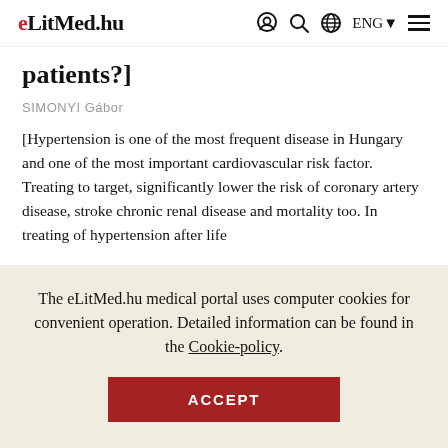eLitMed.hu  ENG
patients?]
SIMONYI Gábor
[Hypertension is one of the most frequent disease in Hungary and one of the most important cardiovascular risk factor. Treating to target, significantly lower the risk of coronary artery disease, stroke chronic renal disease and mortality too. In treating of hypertension after life
The eLitMed.hu medical portal uses computer cookies for convenient operation. Detailed information can be found in the Cookie-policy.
ACCEPT